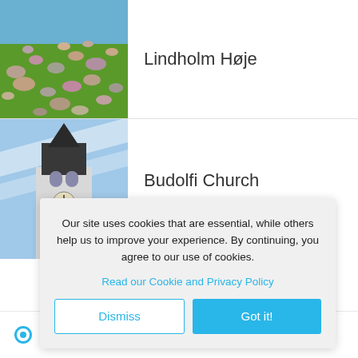[Figure (photo): Photo of Lindholm Høje stone burial site with numerous stones scattered across green hillside under blue sky]
Lindholm Høje
[Figure (photo): Photo of Budolfi Church tower with dark clock tower spire against blue sky]
Budolfi Church
Our site uses cookies that are essential, while others help us to improve your experience. By continuing, you agree to our use of cookies.
Read our Cookie and Privacy Policy
Dismiss
Got it!
Bringing you the best fares from all airlines